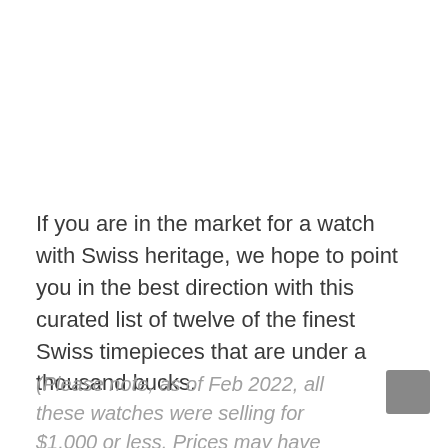If you are in the market for a watch with Swiss heritage, we hope to point you in the best direction with this curated list of twelve of the finest Swiss timepieces that are under a thousand bucks.
(Please note, as of Feb 2022, all these watches were selling for $1,000 or less. Prices may have fluctuated since then,